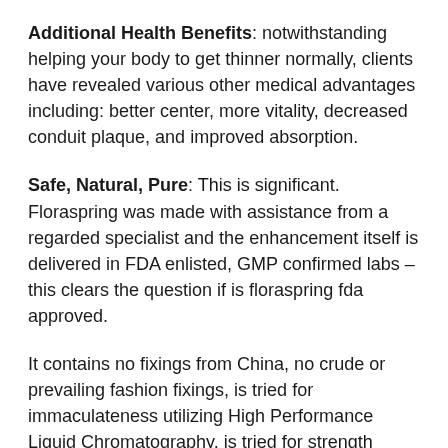Additional Health Benefits: notwithstanding helping your body to get thinner normally, clients have revealed various other medical advantages including: better center, more vitality, decreased conduit plaque, and improved absorption.
Safe, Natural, Pure: This is significant. Floraspring was made with assistance from a regarded specialist and the enhancement itself is delivered in FDA enlisted, GMP confirmed labs – this clears the question if is floraspring fda approved.
It contains no fixings from China, no crude or prevailing fashion fixings, is tried for immaculateness utilizing High Performance Liquid Chromatography, is tried for strength utilizing Infrared spectrometry testing, is tried for poisons utilizing microbial testing by confirmed outsider labs.